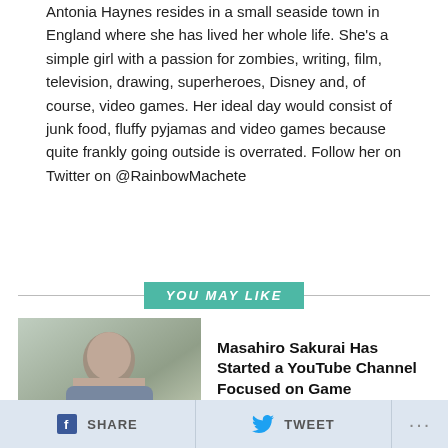Antonia Haynes resides in a small seaside town in England where she has lived her whole life. She's a simple girl with a passion for zombies, writing, film, television, drawing, superheroes, Disney and, of course, video games. Her ideal day would consist of junk food, fluffy pyjamas and video games because quite frankly going outside is overrated. Follow her on Twitter on @RainbowMachete
YOU MAY LIKE
[Figure (photo): Headshot of Masahiro Sakurai]
Masahiro Sakurai Has Started a YouTube Channel Focused on Game Development
[Figure (photo): Winner Is You podcast artwork with dark corridor background]
A Winner Is You Podcast Episode 43: Resident Evil Zero
[Figure (photo): NXpress Nintendo Podcast Kirby artwork with yellow background]
NXpress Nintendo Podcast 297: Kirby's Dream Buffet Extravaganza!